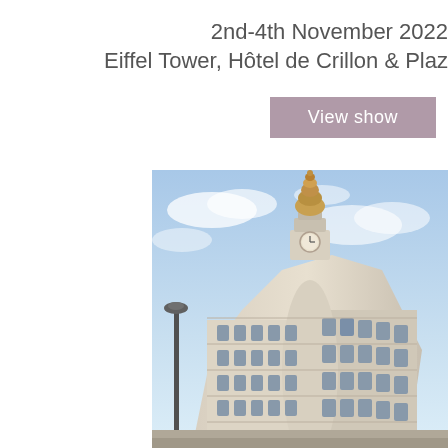2nd-4th November 2022
Eiffel Tower, Hôtel de Crillon & Plaz
View show
[Figure (photo): A grand ornate European-style building photographed from a low angle, featuring a domed clock tower at the top with gilded decorations, classical facade with multiple floors of arched windows, against a blue sky with clouds.]